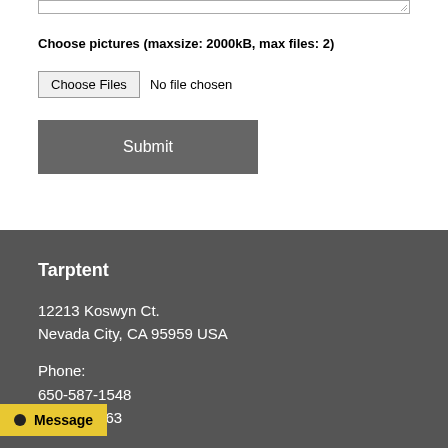Choose pictures (maxsize: 2000kB, max files: 2)
Choose Files  No file chosen
Submit
Tarptent
12213 Koswyn Ct.
Nevada City, CA 95959 USA
Phone:
650-587-1548
-8763
Message